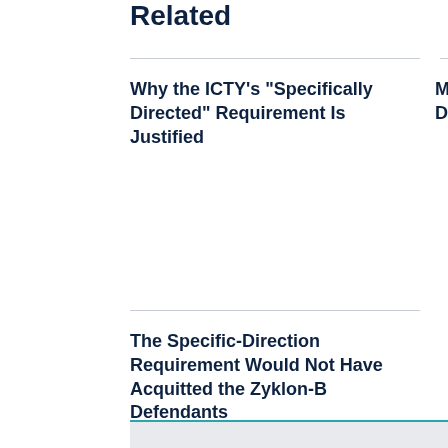Related
Why the ICTY's "Specifically Directed" Requirement Is Justified
More Misdirection on Specific Direction
The Specific-Direction Requirement Would Not Have Acquitted the Zyklon-B Defendants